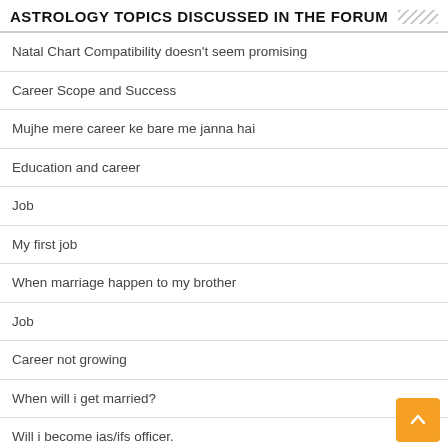ASTROLOGY TOPICS DISCUSSED IN THE FORUM
Natal Chart Compatibility doesn't seem promising
Career Scope and Success
Mujhe mere career ke bare me janna hai
Education and career
Job
My first job
When marriage happen to my brother
Job
Career not growing
When will i get married?
Will i become ias/ifs officer.
My married life